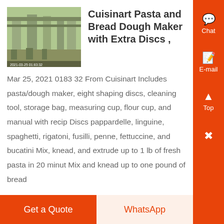[Figure (photo): Photo of an industrial building interior with large concrete pillars and equipment, taken outdoors under a structure.]
Cuisinart Pasta and Bread Dough Maker with Extra Discs ,
Mar 25, 2021 0183 32 From Cuisinart Includes pasta/dough maker, eight shaping discs, cleaning tool, storage bag, measuring cup, flour cup, and manual with recip Discs pappardelle, linguine, spaghetti, rigatoni, fusilli, penne, fettuccine, and bucatini Mix, knead, and extrude up to 1 lb of fresh pasta in 20 minut Mix and knead up to one pound of bread
Get a Quote
WhatsApp